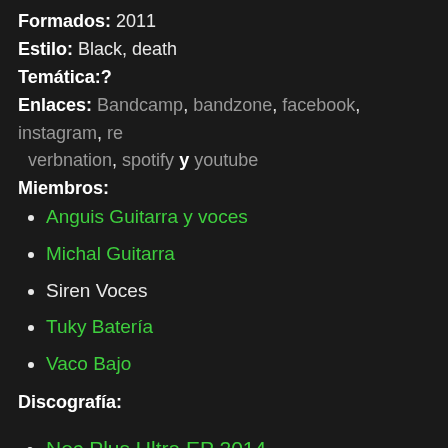Formados: 2011
Estilo: Black, death
Temática:?
Enlaces: Bandcamp, bandzone, facebook, instagram, reverbnation, spotify y youtube
Miembros:
Anguis Guitarra y voces
Michal Guitarra
Siren Voces
Tuky Batería
Vaco Bajo
Discografía:
Nec Plus Ultra EP 2014
Enlightenment Single 2016